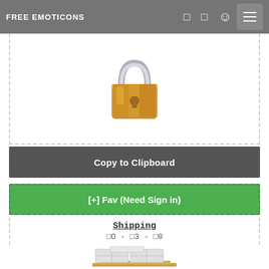FREE EMOTICONS
[Figure (illustration): Gold padlock icon with silver shackle]
Copy to Clipboard
[+] Fav (Need Sign in)
Shipping
□O - □3 - □0
[Figure (illustration): Stack of white shipping boxes on a wooden pallet]